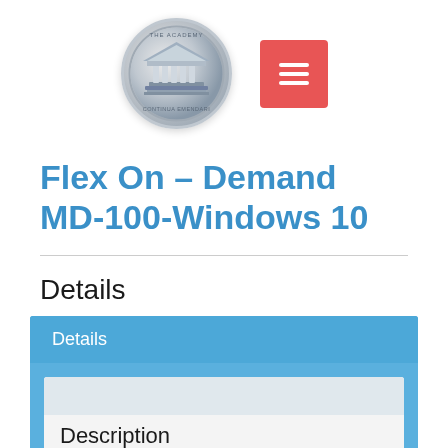[Figure (logo): The Academy circular medallion logo with a classical building/columns and text 'THE ACADEMY' and 'CONTINUA EMENDARI']
[Figure (other): Red square button with three horizontal white lines (hamburger menu icon)]
Flex On – Demand MD-100-Windows 10
Details
| Details |
| --- |
| Description |